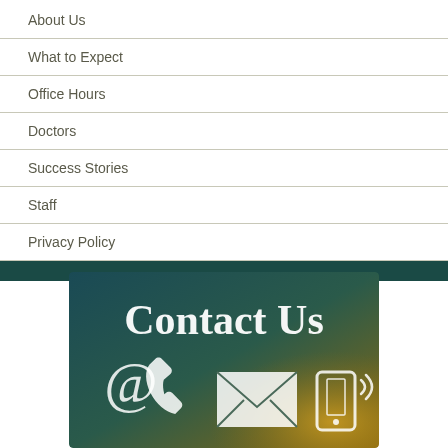About Us
What to Expect
Office Hours
Doctors
Success Stories
Staff
Privacy Policy
[Figure (infographic): Contact Us banner image with icons: @ symbol, phone handset, envelope/mail, and mobile phone with signal waves. Gradient background from teal/dark blue on left to olive/golden brown on right. White serif text 'Contact Us' at top.]